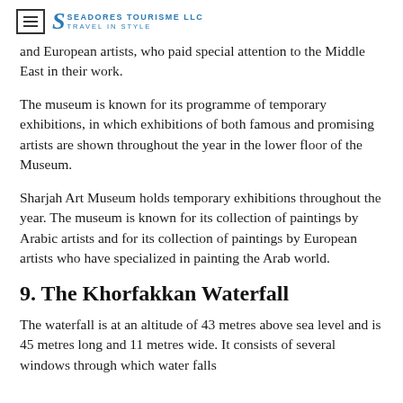Seadores Tourisme LLC – Travel in Style (logo/header)
and European artists, who paid special attention to the Middle East in their work.
The museum is known for its programme of temporary exhibitions, in which exhibitions of both famous and promising artists are shown throughout the year in the lower floor of the Museum.
Sharjah Art Museum holds temporary exhibitions throughout the year. The museum is known for its collection of paintings by Arabic artists and for its collection of paintings by European artists who have specialized in painting the Arab world.
9. The Khorfakkan Waterfall
The waterfall is at an altitude of 43 metres above sea level and is 45 metres long and 11 metres wide. It consists of several windows through which water falls